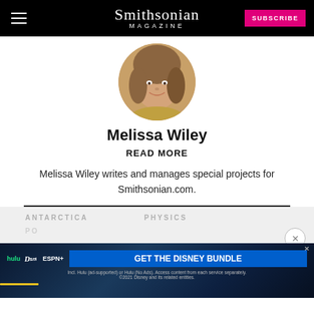Smithsonian MAGAZINE | SUBSCRIBE
[Figure (photo): Circular profile photo of Melissa Wiley, a woman with shoulder-length light brown hair, smiling, against a warm-toned background.]
Melissa Wiley
READ MORE
Melissa Wiley writes and manages special projects for Smithsonian.com.
ANTARCTICA
PHYSICS
[Figure (other): Disney Bundle advertisement banner showing Hulu, Disney+, and ESPN+ logos with a 'GET THE DISNEY BUNDLE' call to action button and fine print text.]